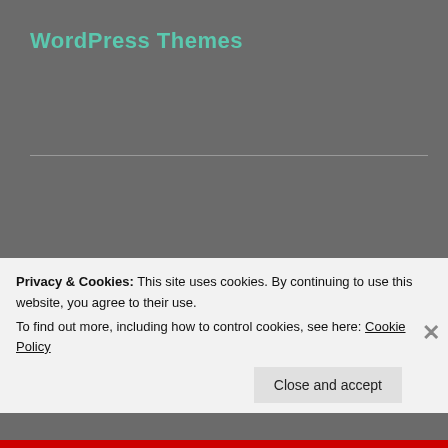WordPress Themes
[Figure (screenshot): Row of WordPress theme thumbnail images including geometric patterns, person photo, illustrated face, animal photo, heart graphic, and pattern thumbnails]
[Figure (screenshot): Second row of WordPress theme thumbnails with geometric patterns, photography, and sunset silhouette]
[Figure (screenshot): Third row of WordPress theme thumbnails partially visible, including person photos and geometric patterns]
Privacy & Cookies: This site uses cookies. By continuing to use this website, you agree to their use.
To find out more, including how to control cookies, see here: Cookie Policy
Close and accept